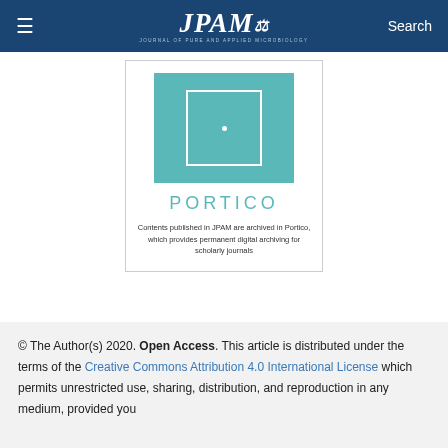≡  JPAM  Search
[Figure (logo): Portico archiving service logo: teal square with inner white square and dot, text PORTICO below, description of archiving service]
Contents published in JPAM are archived in Portico, which provides permanent digital archiving for scholarly journals
© The Author(s) 2020. Open Access. This article is distributed under the terms of the Creative Commons Attribution 4.0 International License which permits unrestricted use, sharing, distribution, and reproduction in any medium, provided you